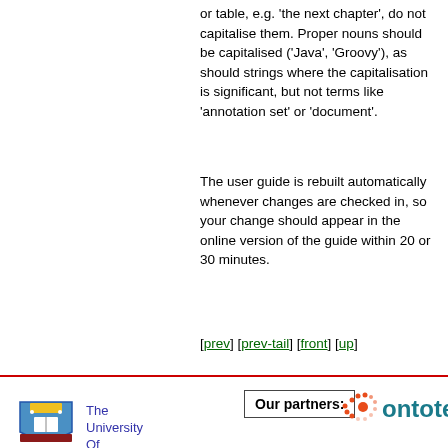or table, e.g. 'the next chapter', do not capitalise them. Proper nouns should be capitalised ('Java', 'Groovy'), as should strings where the capitalisation is significant, but not terms like 'annotation set' or 'document'.
The user guide is rebuilt automatically whenever changes are checked in, so your change should appear in the online version of the guide within 20 or 30 minutes.
[prev] [prev-tail] [front] [up]
Our partners:
[Figure (logo): University of Sheffield crest/shield logo]
The University Of Sheffield
[Figure (logo): Ontotext logo with orange dot-circle and teal text 'ontotext']